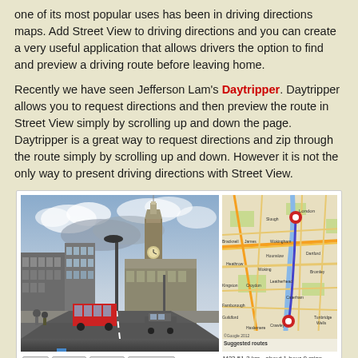one of its most popular uses has been in driving directions maps. Add Street View to driving directions and you can create a very useful application that allows drivers the option to find and preview a driving route before leaving home.
Recently we have seen Jefferson Lam's Daytripper. Daytripper allows you to request directions and then preview the route in Street View simply by scrolling up and down the page. Daytripper is a great way to request directions and zip through the route simply by scrolling up and down. However it is not the only way to present driving directions with Street View.
[Figure (screenshot): Screenshot showing a Daytripper application with two panels: left panel shows a Street View image of a London street with Big Ben visible, right panel shows a Google Map of London area with a route marked. Below are controls: Play, Faster, Slower, Download buttons and suggested routes text.]